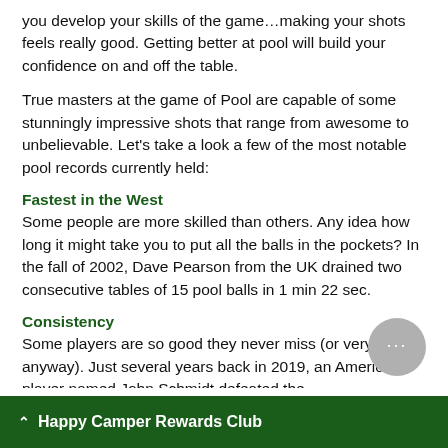you develop your skills of the game…making your shots feels really good. Getting better at pool will build your confidence on and off the table.
True masters at the game of Pool are capable of some stunningly impressive shots that range from awesome to unbelievable. Let's take a look a few of the most notable pool records currently held:
Fastest in the West
Some people are more skilled than others. Any idea how long it might take you to put all the balls in the pockets? In the fall of 2002, Dave Pearson from the UK drained two consecutive tables of 15 pool balls in 1 min 22 sec.
Consistency
Some players are so good they never miss (or very rarely, anyway). Just several years back in 2019, an American player named John Schmidt defeated the longstanding … a miss. It belonged to one of llic Massueni for the past 65
Happy Camper Rewards Club